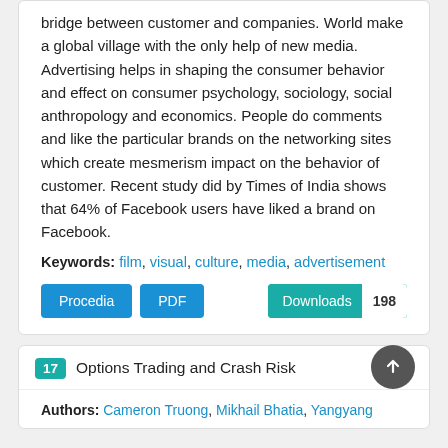bridge between customer and companies. World make a global village with the only help of new media. Advertising helps in shaping the consumer behavior and effect on consumer psychology, sociology, social anthropology and economics. People do comments and like the particular brands on the networking sites which create mesmerism impact on the behavior of customer. Recent study did by Times of India shows that 64% of Facebook users have liked a brand on Facebook.
Keywords: film, visual, culture, media, advertisement
17 Options Trading and Crash Risk
Authors: Cameron Truong, Mikhail Bhatia, Yangyang